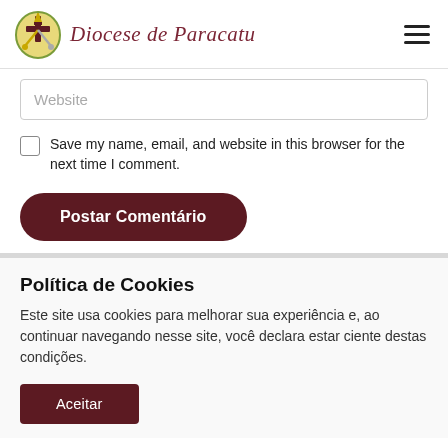Diocese de Paracatu
Website
Save my name, email, and website in this browser for the next time I comment.
Postar Comentário
Política de Cookies
Este site usa cookies para melhorar sua experiência e, ao continuar navegando nesse site, você declara estar ciente destas condições.
Aceitar